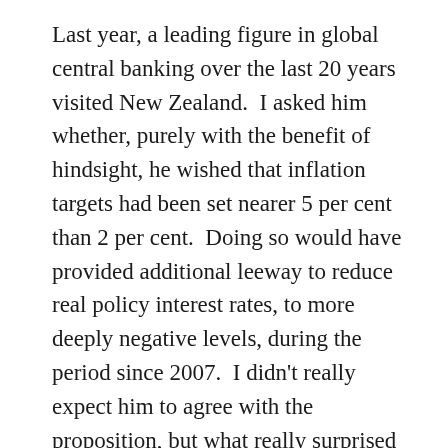Last year, a leading figure in global central banking over the last 20 years visited New Zealand.  I asked him whether, purely with the benefit of hindsight, he wished that inflation targets had been set nearer 5 per cent than 2 per cent.  Doing so would have provided additional leeway to reduce real policy interest rates, to more deeply negative levels, during the period since 2007.  I didn't really expect him to agree with the proposition, but what really surprised me was how few arguments he could put up in defence of  inflation targets centred on 2 per cent.  For countries that have now spent years at the near-zero lower bound, the with-hindsight case for higher initial inflation targets seems pretty strong.  In theabling